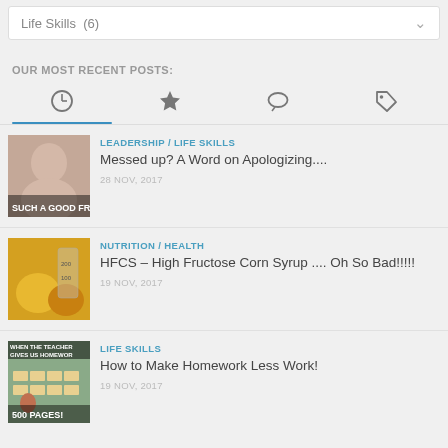Life Skills  (6)
OUR MOST RECENT POSTS:
[Figure (other): Tab icon bar with four icons: clock (active, underlined in blue), star, comment bubble, tag]
[Figure (photo): Thumbnail image of a woman smiling, with text overlay 'SUCH A GOOD FR']
LEADERSHIP / LIFE SKILLS
Messed up? A Word on Apologizing....
28 NOV, 2017
[Figure (photo): Thumbnail image of honey/syrup in measuring cups (HFCS visual), with measurement markings 200, 100]
NUTRITION / HEALTH
HFCS – High Fructose Corn Syrup .... Oh So Bad!!!!!
19 NOV, 2017
[Figure (photo): Thumbnail image of a classroom with text overlay 'WHEN THE TEACHER GIVES US HOMEWORK' and '500 PAGES!']
LIFE SKILLS
How to Make Homework Less Work!
19 NOV, 2017